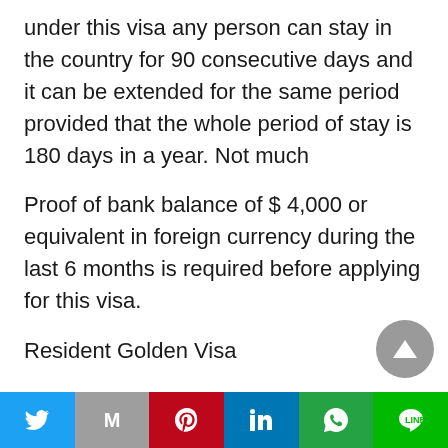under this visa any person can stay in the country for 90 consecutive days and it can be extended for the same period provided that the whole period of stay is 180 days in a year. Not much
Proof of bank balance of $ 4,000 or equivalent in foreign currency during the last 6 months is required before applying for this visa.
Resident Golden Visa
Holders of Golden Visas can sponsor their families, including spouses and children,